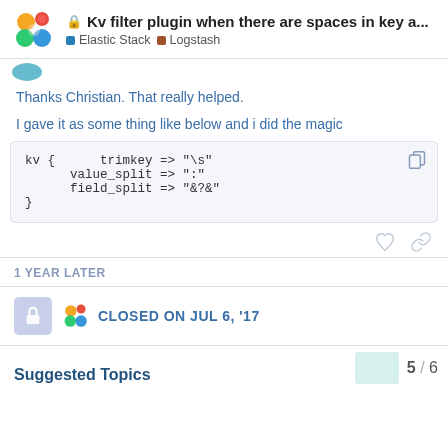Kv filter plugin when there are spaces in key a... | Elastic Stack | Logstash
Thanks Christian. That really helped.
I gave it as some thing like below and i did the magic
kv {
    trimkey => "\s"
    value_split => ":"
    field_split => "&?&"
}
1 YEAR LATER
CLOSED ON JUL 6, '17
5 / 6
Suggested Topics